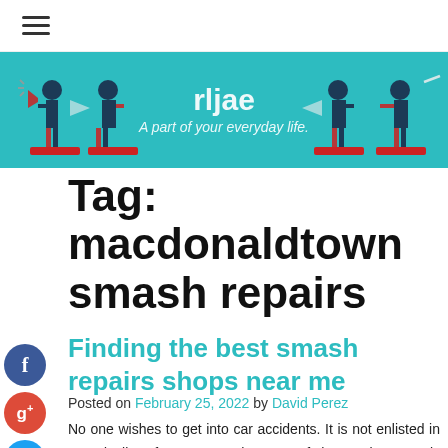≡
[Figure (illustration): Teal banner with white silhouette figures of people at podiums pointing at each other. Center text reads 'rljae' and 'A part of your everyday life.']
Tag: macdonaldtown smash repairs
Finding the best smash repairs shops near me
Posted on February 25, 2022 by David Perez
No one wishes to get into car accidents. It is not enlisted in a to-do list of anyone at the start of the week. It surely happens nevertheless and when it does